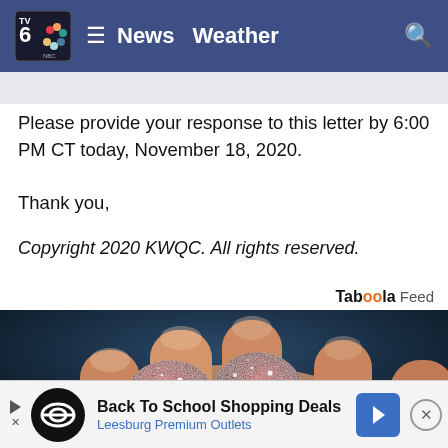[Figure (screenshot): TV6 NBC news website navigation bar with logo, hamburger menu, News and Weather links, and search icon on dark blue background]
Please provide your response to this letter by 6:00 PM CT today, November 18, 2020.
Thank you,
Copyright 2020 KWQC. All rights reserved.
Taboola Feed
[Figure (photo): Close-up photo of a hand holding two sugar-coated red gummy candies against a dark background]
[Figure (screenshot): Advertisement banner for Back To School Shopping Deals at Leesburg Premium Outlets with logo and arrow icon]